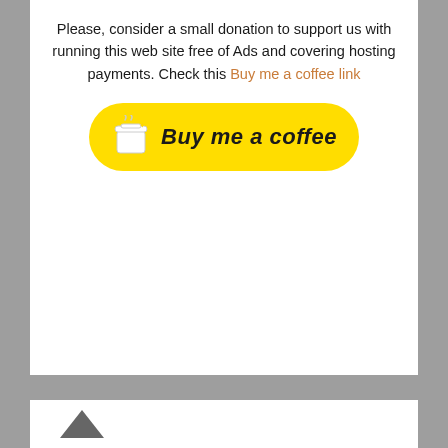Please, consider a small donation to support us with running this web site free of Ads and covering hosting payments. Check this Buy me a coffee link
[Figure (other): Yellow 'Buy me a coffee' button with coffee cup icon and bold italic text]
English in Kupchino. Speaking club 2017 - 2020
englishkupchino@gmail.com
vk.com/english_kupchino